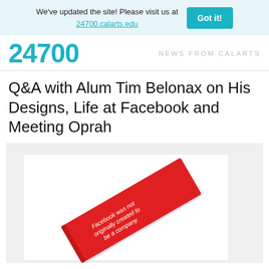We've updated the site! Please visit us at 24700.calarts.edu
24700 — NEWS FROM CalARTS
Q&A with Alum Tim Belonax on His Designs, Life at Facebook and Meeting Oprah
[Figure (photo): A red book/booklet with white italic text reading 'Facebook was not originally created to be a company.' shown at an angle.]